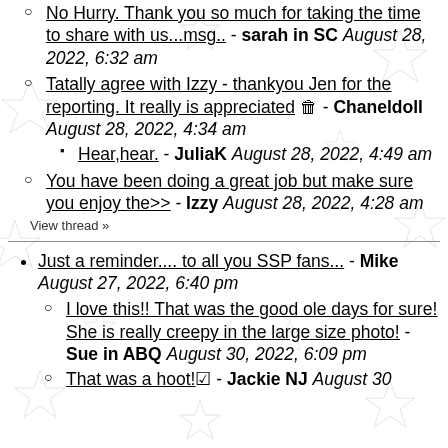No Hurry. Thank you so much for taking the time to share with us...msg.. - sarah in SC August 28, 2022, 6:32 am
Tatally agree with Izzy - thankyou Jen for the reporting. It really is appreciated 🟥 - Chaneldoll August 28, 2022, 4:34 am
Hear,hear. - JuliaK August 28, 2022, 4:49 am
You have been doing a great job but make sure you enjoy the>> - Izzy August 28, 2022, 4:28 am
View thread »
Just a reminder.... to all you SSP fans... - Mike August 27, 2022, 6:40 pm
I love this!! That was the good ole days for sure! She is really creepy in the large size photo! - Sue in ABQ August 30, 2022, 6:09 pm
That was a hoot! ☑ - Jackie NJ August 30...